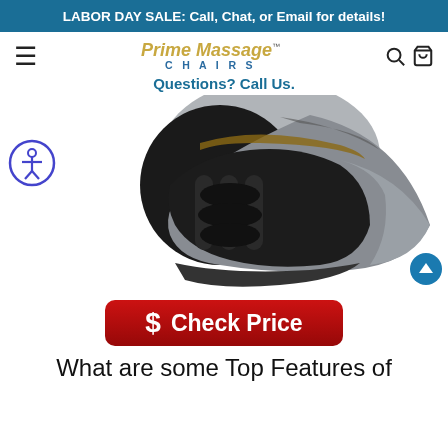LABOR DAY SALE: Call, Chat, or Email for details!
[Figure (logo): Prime Massage Chairs logo with hamburger menu, search and cart icons]
Questions? Call Us.
[Figure (photo): Gray and black massage chair shown at an angle against white background]
[Figure (other): Red Check Price button with dollar sign icon]
What are some Top Features of